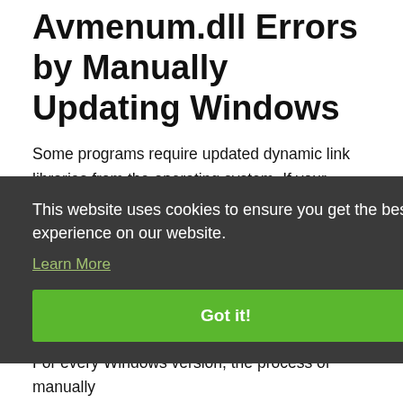Avmenum.dll Errors by Manually Updating Windows
Some programs require updated dynamic link libraries from the operating system. If your operating system is not updated, this requirement is not met and you will receive dll errors. Because of this, updating your operating system may solve the dll
This website uses cookies to ensure you get the best experience on our website.
Learn More
Got it!
For every Windows version, the process of manually